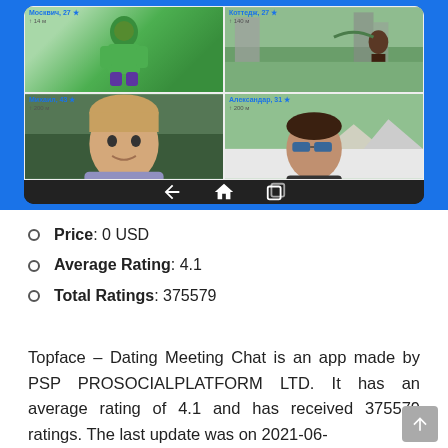[Figure (screenshot): Screenshot of Topface Dating app on an Android tablet showing a grid of profile photos with Russian usernames. Blue background frame around the device. Navigation bar visible at bottom with back, home, and recents icons.]
Price: 0 USD
Average Rating: 4.1
Total Ratings: 375579
Topface – Dating Meeting Chat is an app made by PSP PROSOCIALPLATFORM LTD. It has an average rating of 4.1 and has received 375579 ratings. The last update was on 2021-06-